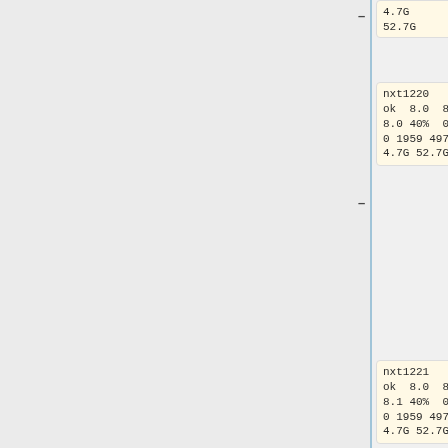4.7G 52.7G
nxt1220
ok  8.0  8.0
8.0  40%  0.0
0  1959 497M
4.7G 52.7G
nxt1221
ok  8.0  8.0
8.1  40%  0.0
0  1959 497M
4.7G 52.7G
</pre>
The above imbalance may be there by design or poor programming. If not by design,